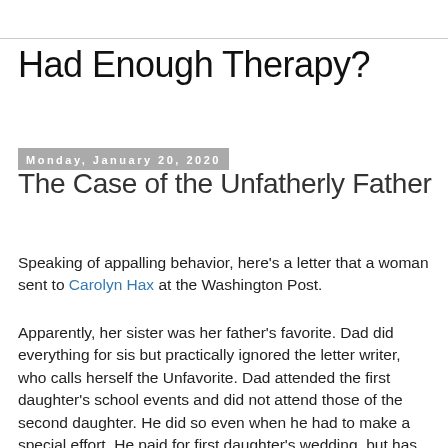Had Enough Therapy?
Monday, January 20, 2020
The Case of the Unfatherly Father
Speaking of appalling behavior, here’s a letter that a woman sent to Carolyn Hax at the Washington Post.
Apparently, her sister was her father’s favorite. Dad did everything for sis but practically ignored the letter writer, who calls herself the Unfavorite. Dad attended the first daughter’s school events and did not attend those of the second daughter. He did so even when he had to make a special effort. He paid for first daughter’s wedding, but has now run out of funds, and will not pay for second daughter’s. One does not understand why there was such a gross disparity in the way that the man treated his two daughters. One does not care to know what was going on in this man’s head